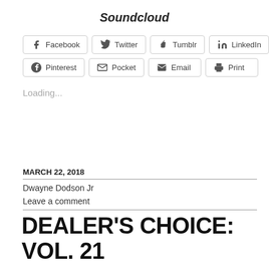Soundcloud
[Figure (screenshot): Social share buttons: Facebook, Twitter, Tumblr, LinkedIn, Pinterest, Pocket, Email, Print]
Loading...
MARCH 22, 2018
Dwayne Dodson Jr
Leave a comment
DEALER'S CHOICE: VOL. 21